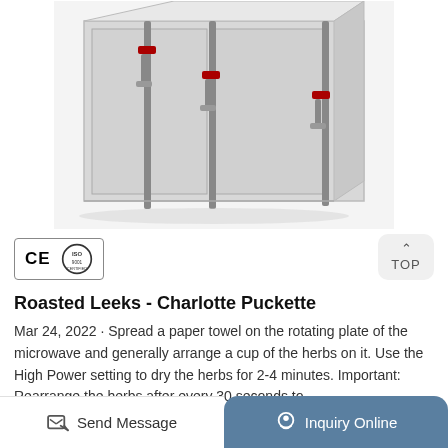[Figure (photo): Industrial oven/dryer equipment with stainless steel doors and latches, large box-shaped unit with multiple door panels]
[Figure (logo): CE and ISO certification logos in a bordered box]
Roasted Leeks - Charlotte Puckette
Mar 24, 2022 · Spread a paper towel on the rotating plate of the microwave and generally arrange a cup of the herbs on it. Use the High Power setting to dry the herbs for 2-4 minutes. Important: Rearrange the herbs after every 30 seconds to
Send Message   Inquiry Online